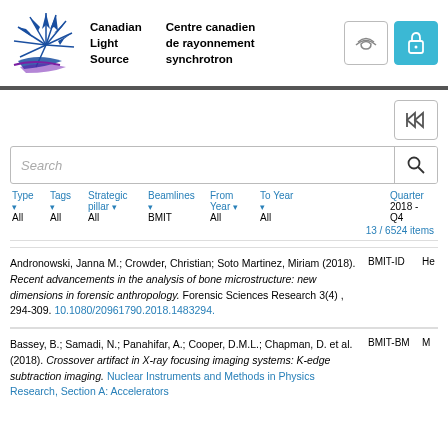[Figure (logo): Canadian Light Source / Centre canadien de rayonnement synchrotron logo with stylized blue burst and swoosh, cloud icon and lock icon buttons]
Search
Type ▾ All   Tags ▾ All   Strategic pillar ▾ All   Beamlines ▾ BMIT   From Year ▾ All   To Year ▾ All   Quarter 2018-Q4
13 / 6524 items
Andronowski, Janna M.; Crowder, Christian; Soto Martinez, Miriam (2018). Recent advancements in the analysis of bone microstructure: new dimensions in forensic anthropology. Forensic Sciences Research 3(4) , 294-309. 10.1080/20961790.2018.1483294.
BMIT-ID
He
Bassey, B.; Samadi, N.; Panahifar, A.; Cooper, D.M.L.; Chapman, D. et al. (2018). Crossover artifact in X-ray focusing imaging systems: K-edge subtraction imaging. Nuclear Instruments and Methods in Physics Research, Section A: Accelerators
BMIT-BM
M